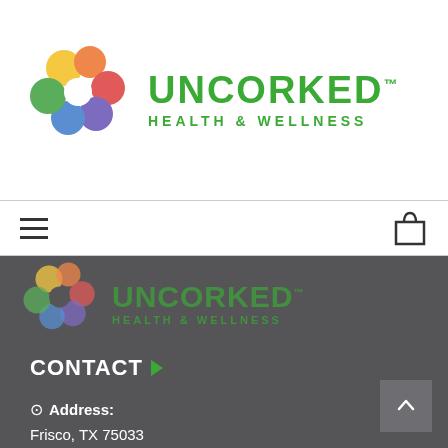[Figure (logo): Uncorked Health & Wellness logo with colorful dots arranged in a circle and green brand text]
[Figure (logo): Uncorked Health & Wellness logo repeated on dark gray footer background]
CONTACT
Address:
Frisco, TX 75033